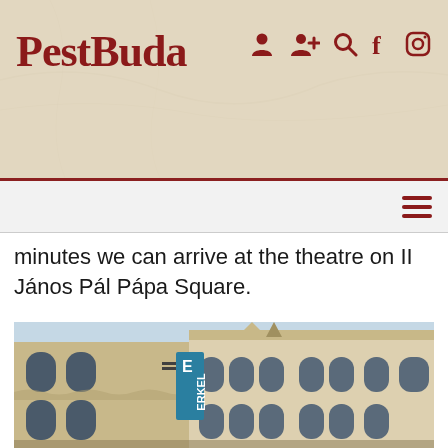PestBuda
minutes we can arrive at the theatre on II János Pál Pápa Square.
[Figure (photo): Exterior photograph of the Erkel Theatre building, a historic ornate stone building with Romanesque arched windows and decorative stonework. A vertical blue banner reading 'ERKEL' is visible on the facade corner.]